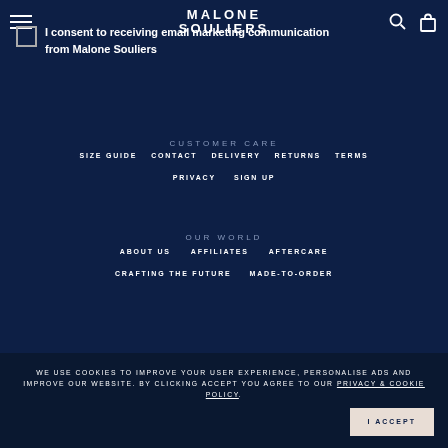MALONE SOULIERS
I consent to receiving email marketing communication from Malone Souliers
CUSTOMER CARE
SIZE GUIDE
CONTACT
DELIVERY
RETURNS
TERMS
PRIVACY
SIGN UP
OUR WORLD
ABOUT US
AFFILIATES
AFTERCARE
CRAFTING THE FUTURE
MADE-TO-ORDER
WE USE COOKIES TO IMPROVE YOUR USER EXPERIENCE, PERSONALISE ADS AND IMPROVE OUR WEBSITE. BY CLICKING ACCEPT YOU AGREE TO OUR PRIVACY & COOKIE POLICY.
I ACCEPT